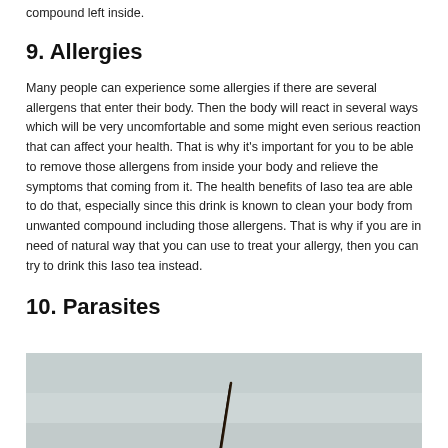compound left inside.
9. Allergies
Many people can experience some allergies if there are several allergens that enter their body. Then the body will react in several ways which will be very uncomfortable and some might even serious reaction that can affect your health. That is why it’s important for you to be able to remove those allergens from inside your body and relieve the symptoms that coming from it. The health benefits of Iaso tea are able to do that, especially since this drink is known to clean your body from unwanted compound including those allergens. That is why if you are in need of natural way that you can use to treat your allergy, then you can try to drink this Iaso tea instead.
10. Parasites
[Figure (photo): A photograph showing a microscopic or biological close-up image, partially visible at the bottom of the page, with a dark needle-like or spine-like object against a light grey background.]